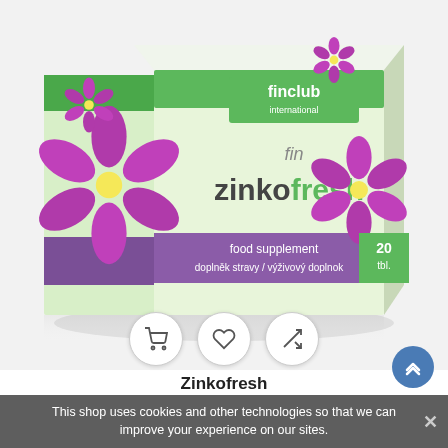[Figure (photo): Product box of fin Zinkofresh by finclub international. Box has a white and green design with purple/magenta flower decorations. Text on box: 'finclub international', 'fin zinkofresh', 'food supplement', 'doplněk stravy / výživový doplnok', '20 tbl.' Three circular icon buttons below the box showing cart, heart/wishlist, and compare icons.]
Zinkofresh
This shop uses cookies and other technologies so that we can improve your experience on our sites.